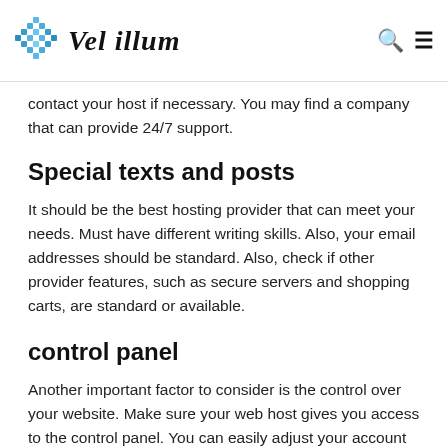Vel illum
contact your host if necessary. You may find a company that can provide 24/7 support.
Special texts and posts
It should be the best hosting provider that can meet your needs. Must have different writing skills. Also, your email addresses should be standard. Also, check if other provider features, such as secure servers and shopping carts, are standard or available.
control panel
Another important factor to consider is the control over your website. Make sure your web host gives you access to the control panel. You can easily adjust your account settings via the control panel and make any necessary changes to your website as needed.